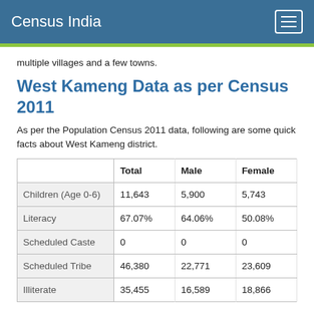Census India
multiple villages and a few towns.
West Kameng Data as per Census 2011
As per the Population Census 2011 data, following are some quick facts about West Kameng district.
|  | Total | Male | Female |
| --- | --- | --- | --- |
| Children (Age 0-6) | 11,643 | 5,900 | 5,743 |
| Literacy | 67.07% | 64.06% | 50.08% |
| Scheduled Caste | 0 | 0 | 0 |
| Scheduled Tribe | 46,380 | 22,771 | 23,609 |
| Illiterate | 35,455 | 16,589 | 18,866 |